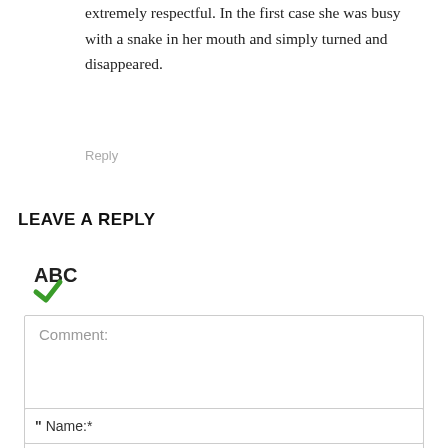extremely respectful. In the first case she was busy with a snake in her mouth and simply turned and disappeared.
Reply
LEAVE A REPLY
[Figure (illustration): Spell-check icon: ABC letters with a green checkmark below]
Comment:
" Name:*
[Figure (photo): Advertisement banner: Kimber brand ad with text LOOKS WITH STOPPING and EXPLORE RAPIDS, featuring a gun image]